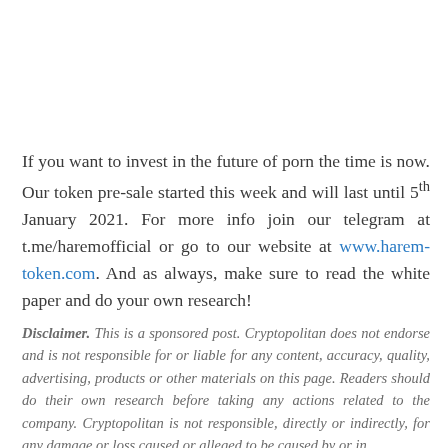If you want to invest in the future of porn the time is now. Our token pre-sale started this week and will last until 5th January 2021. For more info join our telegram at t.me/haremofficial or go to our website at www.harem-token.com. And as always, make sure to read the white paper and do your own research!
Disclaimer. This is a sponsored post. Cryptopolitan does not endorse and is not responsible for or liable for any content, accuracy, quality, advertising, products or other materials on this page. Readers should do their own research before taking any actions related to the company. Cryptopolitan is not responsible, directly or indirectly, for any damage or loss caused or alleged to be caused by or in